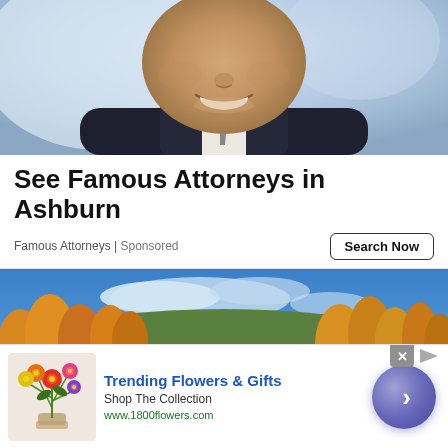[Figure (photo): Close-up photo of a smiling man in a suit, cropped to show lower face and upper torso only]
See Famous Attorneys in Ashburn
Famous Attorneys | Sponsored
Search Now
[Figure (photo): Aerial photo of a road winding through colorful autumn forest with golden and orange trees under a blue sky]
[Figure (photo): Advertisement banner: Trending Flowers & Gifts — Shop The Collection — www.1800flowers.com — with flower bouquet image and arrow button]